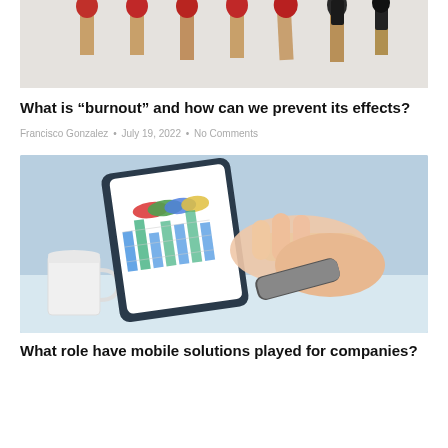[Figure (photo): Close-up photo of several matchsticks, some with red heads and some burnt black, arranged vertically against a white/light grey background.]
What is “burnout” and how can we prevent its effects?
Francisco Gonzalez • July 19, 2022 • No Comments
[Figure (photo): Photo of a person's hands using a tablet displaying colorful bar charts and graphs, with a white coffee mug visible to the left, on a desk with a light blue background.]
What role have mobile solutions played for companies?